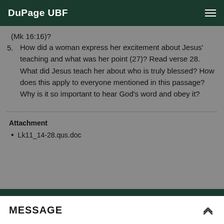DuPage UBF
(Mk 16:16)?
5. How did a woman express her excitement about Jesus' teaching and what was her point (27)? Read verse 28. What did Jesus teach her about who is truly blessed? How does this apply to everyone mentioned in this passage? Why is it so important to hear God's word and obey it?
Attachment
Lk11_14-28.qus.doc
MESSAGE